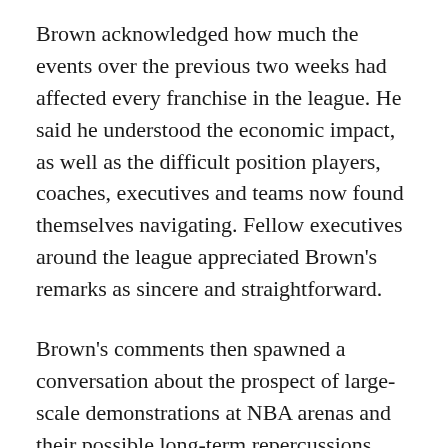Brown acknowledged how much the events over the previous two weeks had affected every franchise in the league. He said he understood the economic impact, as well as the difficult position players, coaches, executives and teams now found themselves navigating. Fellow executives around the league appreciated Brown's remarks as sincere and straightforward.
Brown's comments then spawned a conversation about the prospect of large-scale demonstrations at NBA arenas and their possible long-term repercussions. While the discussion touched on Hong Kong and China, there was a collective acknowledgement that in the present-day NBA, protest was now a matter of course. The league had cultivated a brand identity around social and political consciousness, so it followed that when social and political issues come to light, NBA personnel will get a